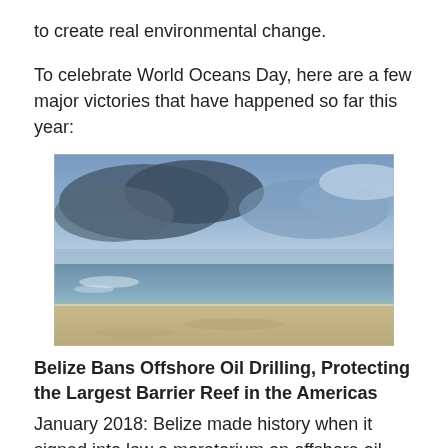to create real environmental change.
To celebrate World Oceans Day, here are a few major victories that have happened so far this year:
[Figure (photo): A beach scene with sandy shore in the foreground, calm ocean water in the middle, and dramatic blue-grey storm clouds filling the sky above.]
Belize Bans Offshore Oil Drilling, Protecting the Largest Barrier Reef in the Americas
January 2018: Belize made history when it signed into law a moratorium on offshore oil exploration and drilling in the